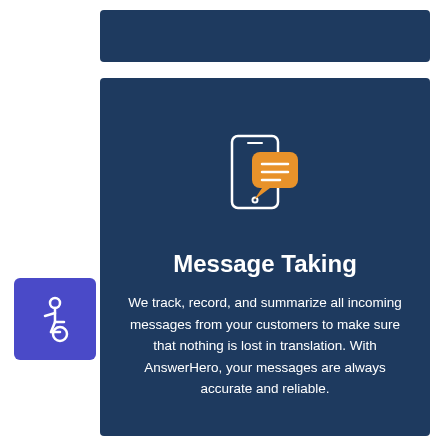[Figure (illustration): Dark navy blue top banner bar]
[Figure (illustration): Dark navy blue card with phone/message icon, title 'Message Taking', and descriptive text. An accessibility icon badge is on the left side.]
Message Taking
We track, record, and summarize all incoming messages from your customers to make sure that nothing is lost in translation. With AnswerHero, your messages are always accurate and reliable.